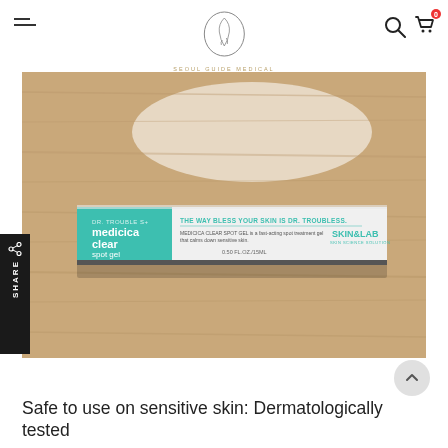[Figure (logo): Seoul Guide Medical Beauty logo — oval face line drawing with brand name below and a decorative GT monogram box]
[Figure (photo): Product photo of Skin&Lab Dr. Trouble+ Medicica Clear Spot Gel box (teal and white) lying on a wooden surface]
Safe to use on sensitive skin: Dermatologically tested